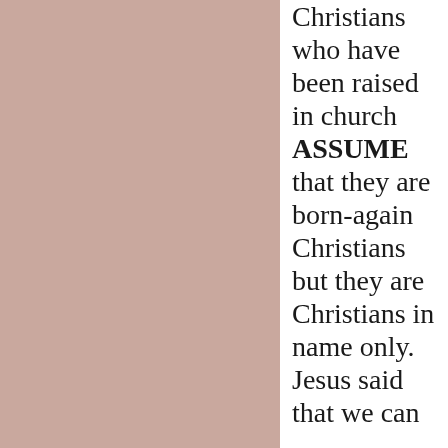Christians who have been raised in church ASSUME that they are born-again Christians but they are Christians in name only. Jesus said that we can